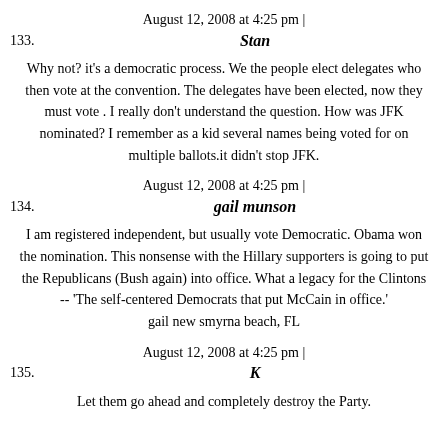August 12, 2008 at 4:25 pm |
133.
Stan
Why not? it's a democratic process. We the people elect delegates who then vote at the convention. The delegates have been elected, now they must vote . I really don't understand the question. How was JFK nominated? I remember as a kid several names being voted for on multiple ballots.it didn't stop JFK.
August 12, 2008 at 4:25 pm |
134.
gail munson
I am registered independent, but usually vote Democratic. Obama won the nomination. This nonsense with the Hillary supporters is going to put the Republicans (Bush again) into office. What a legacy for the Clintons -- 'The self-centered Democrats that put McCain in office.' gail new smyrna beach, FL
August 12, 2008 at 4:25 pm |
135.
K
Let them go ahead and completely destroy the Party.